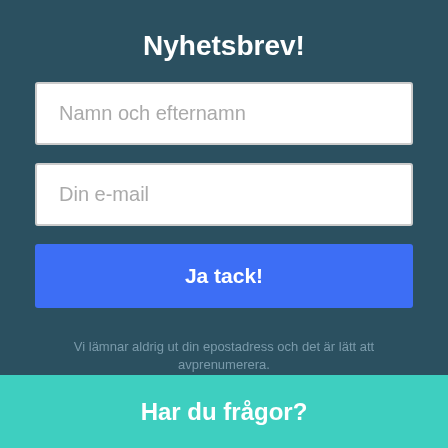Nyhetsbrev!
Namn och efternamn
Din e-mail
Ja tack!
Vi lämnar aldrig ut din epostadress och det är lätt att avprenumerera.
Har du frågor?